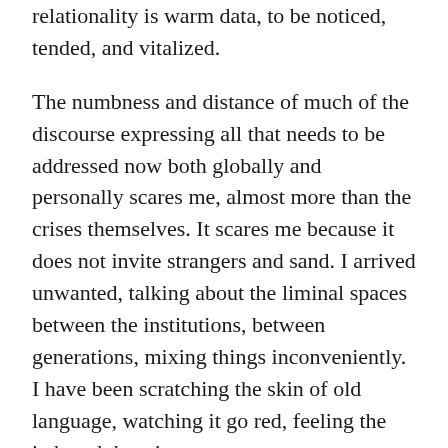relationality is warm data, to be noticed, tended, and vitalized.
The numbness and distance of much of the discourse expressing all that needs to be addressed now both globally and personally scares me, almost more than the crises themselves. It scares me because it does not invite strangers and sand. I arrived unwanted, talking about the liminal spaces between the institutions, between generations, mixing things inconveniently.  I have been scratching the skin of old language, watching it go red, feeling the itch and the sting.
No one really wants to question the stuff of deep belonging: things like the impermanence of current notions of ownership, material profit, citizenship, or